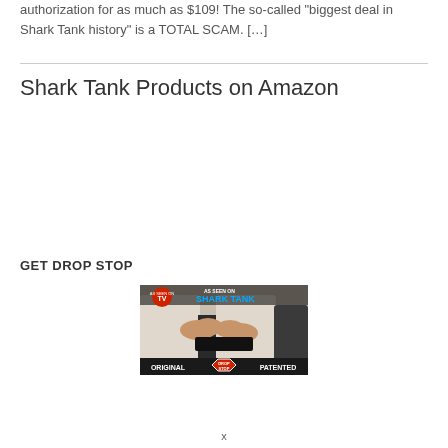authorization for as much as $109! The so-called “biggest deal in Shark Tank history” is a TOTAL SCAM. […]
Shark Tank Products on Amazon
GET DROP STOP
[Figure (photo): Product photo of Drop Stop car seat gap filler, labeled 'As Seen on Shark Tank', 'Original', 'Patented', with logos for As Seen on TV and Drop Stop]
x